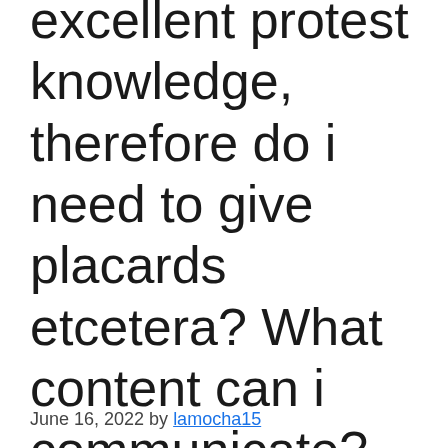excellent protest knowledge, therefore do i need to give placards etcetera? What content can i communicate?
June 16, 2022 by lamocha15